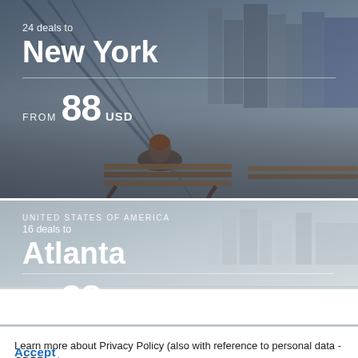[Figure (photo): Travel deal card showing New York City scene with person sitting on bench by waterfront, city skyline and bridge in background]
24 deals to
New York
FROM 88 USD
[Figure (photo): Travel deal card for Atlanta with grey gradient background and UNITED STATES OF AMERICA label]
UNITED STATES OF AMERICA
16 deals to
Atlanta
FROM 38 USD
Learn more about Privacy Policy (also with reference to personal data - GDPR) - here.
Accept